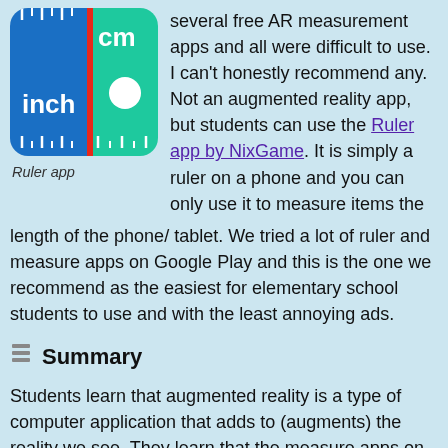[Figure (screenshot): Ruler app icon showing a blue and green ruler with 'inch' and 'cm' labels]
Ruler app
several free AR measurement apps and all were difficult to use. I can't honestly recommend any. Not an augmented reality app, but students can use the Ruler app by NixGame. It is simply a ruler on a phone and you can only use it to measure items the length of the phone/ tablet. We tried a lot of ruler and measure apps on Google Play and this is the one we recommend as the easiest for elementary school students to use and with the least annoying ads.
Summary
Students learn that augmented reality is a type of computer application that adds to (augments) the reality we see. They learn that the measure apps on phones and tablets are a